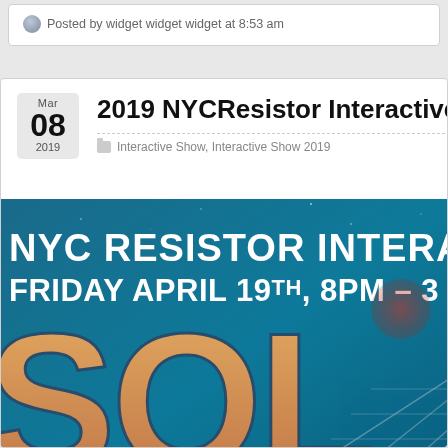Posted by widget widget widget at 8:53 am
2019 NYCResistor Interactive Sho
Interactive Show, Interactive Show 2019
[Figure (photo): NYC Resistor Interactive Show event poster with large stylized text 'SOL' on a teal/blue space background, with text reading 'NYC Resistor Intera...' and 'Friday April 19th, 8pm – 3...']